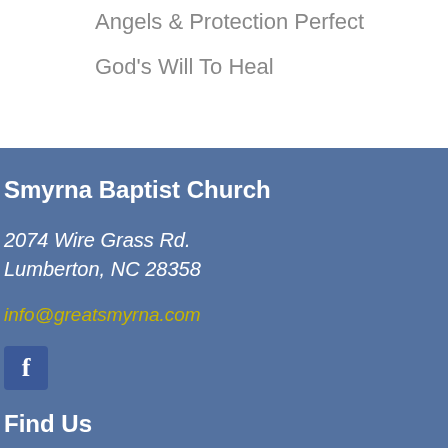Angels & Protection Perfect
God's Will To Heal
Smyrna Baptist Church
2074 Wire Grass Rd.
Lumberton, NC 28358
info@greatsmyrna.com
[Figure (logo): Facebook icon button - blue square with white 'f' letter]
Find Us